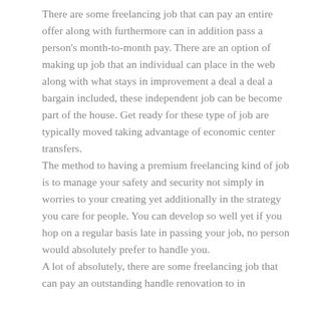There are some freelancing job that can pay an entire offer along with furthermore can in addition pass a person's month-to-month pay. There are an option of making up job that an individual can place in the web along with what stays in improvement a deal a deal a bargain included, these independent job can be become part of the house. Get ready for these type of job are typically moved taking advantage of economic center transfers. The method to having a premium freelancing kind of job is to manage your safety and security not simply in worries to your creating yet additionally in the strategy you care for people. You can develop so well yet if you hop on a regular basis late in passing your job, no person would absolutely prefer to handle you.
A lot of absolutely, there are some freelancing job that can pay an outstanding handle renovation to in